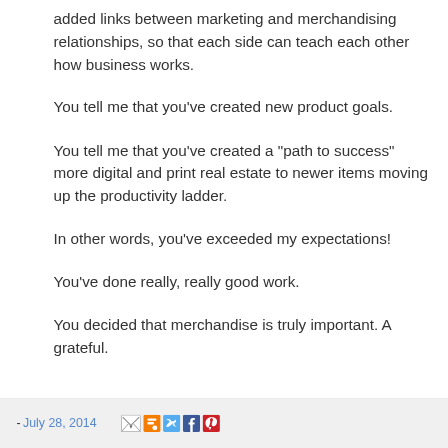added links between marketing and merchandising relationships, so that each side can teach each other how business works.
You tell me that you've created new product goals.
You tell me that you've created a "path to success" more digital and print real estate to newer items moving up the productivity ladder.
In other words, you've exceeded my expectations!
You've done really, really good work.
You decided that merchandise is truly important. A grateful.
- July 28, 2014